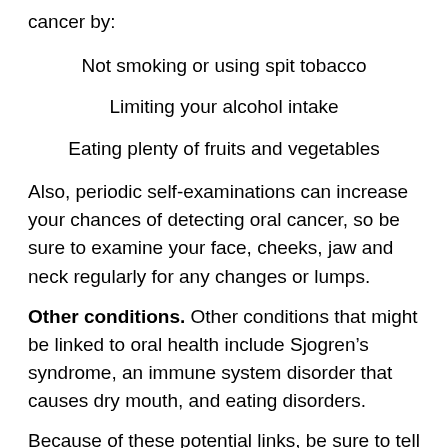cancer by:
Not smoking or using spit tobacco
Limiting your alcohol intake
Eating plenty of fruits and vegetables
Also, periodic self-examinations can increase your chances of detecting oral cancer, so be sure to examine your face, cheeks, jaw and neck regularly for any changes or lumps.
Other conditions. Other conditions that might be linked to oral health include Sjogren’s syndrome, an immune system disorder that causes dry mouth, and eating disorders.
Because of these potential links, be sure to tell your